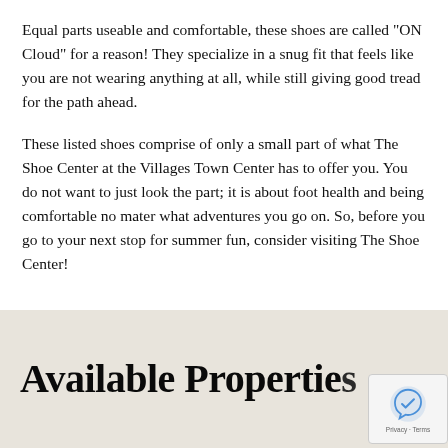Equal parts useable and comfortable, these shoes are called “ON Cloud” for a reason! They specialize in a snug fit that feels like you are not wearing anything at all, while still giving good tread for the path ahead.
These listed shoes comprise of only a small part of what The Shoe Center at the Villages Town Center has to offer you. You do not want to just look the part; it is about foot health and being comfortable no mater what adventures you go on. So, before you go to your next stop for summer fun, consider visiting The Shoe Center!
Available Properties